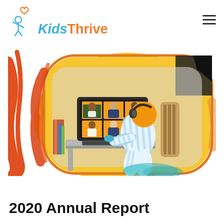[Figure (logo): Kids Thrive logo with illustrated figure of a child and stylized text 'Kids Thrive']
[Figure (illustration): Colorful illustration of a child in striped pajamas wearing headphones sitting at a desk, viewing a video call on a monitor showing six school-age students on an orange/yellow background with organic blob shape]
2020 Annual Report